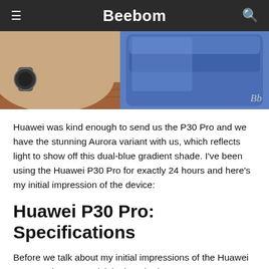Beebom
[Figure (photo): A person's arm holding a blue Huawei P30 Pro smartphone, with a wooden surface visible. A Beebom watermark 'Bb' appears in the bottom-right corner of the image.]
Huawei was kind enough to send us the P30 Pro and we have the stunning Aurora variant with us, which reflects light to show off this dual-blue gradient shade. I've been using the Huawei P30 Pro for exactly 24 hours and here's my initial impression of the device:
Huawei P30 Pro: Specifications
Before we talk about my initial impressions of the Huawei P30 Pro, here's a quick look at the key